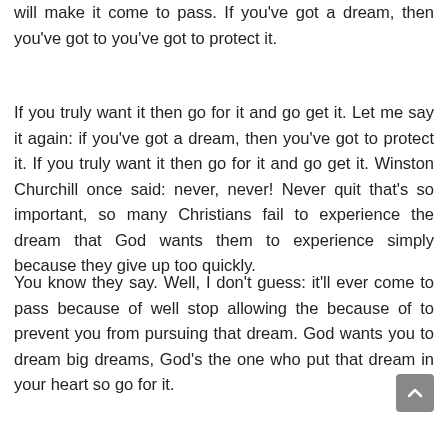will make it come to pass. If you've got a dream, then you've got to you've got to protect it.
If you truly want it then go for it and go get it. Let me say it again: if you've got a dream, then you've got to protect it. If you truly want it then go for it and go get it. Winston Churchill once said: never, never! Never quit that's so important, so many Christians fail to experience the dream that God wants them to experience simply because they give up too quickly.
You know they say. Well, I don't guess: it'll ever come to pass because of well stop allowing the because of to prevent you from pursuing that dream. God wants you to dream big dreams, God's the one who put that dream in your heart so go for it.